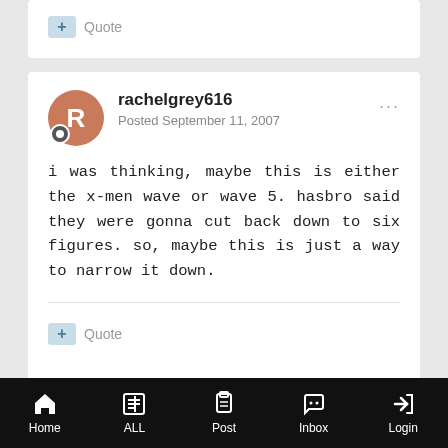[Figure (screenshot): Partial forum post bottom with Quote button]
rachelgrey616
Posted September 11, 2007

i was thinking, maybe this is either the x-men wave or wave 5. hasbro said they were gonna cut back down to six figures. so, maybe this is just a way to narrow it down.
EvilHayate (partial, next post)
Home  ALL  Post  Inbox  Login